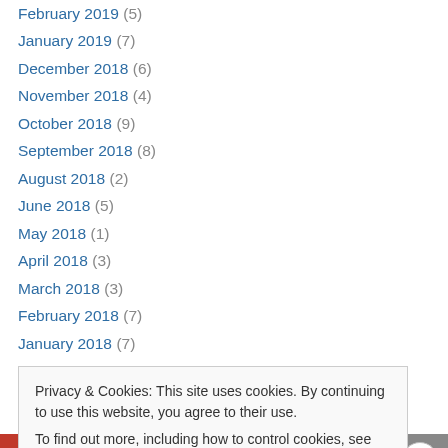February 2019 (5)
January 2019 (7)
December 2018 (6)
November 2018 (4)
October 2018 (9)
September 2018 (8)
August 2018 (2)
June 2018 (5)
May 2018 (1)
April 2018 (3)
March 2018 (3)
February 2018 (7)
January 2018 (7)
Privacy & Cookies: This site uses cookies. By continuing to use this website, you agree to their use. To find out more, including how to control cookies, see here: Cookie Policy
Close and accept